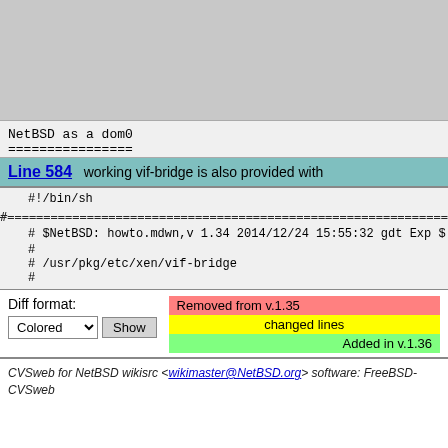[Figure (screenshot): Gray placeholder area at top of page]
NetBSD as a dom0
================
Line 584   working vif-bridge is also provided with
#!/bin/sh
#==========================================================================
# $NetBSD: howto.mdwn,v 1.34 2014/12/24 15:55:32 gdt Exp $
#
# /usr/pkg/etc/xen/vif-bridge
#
Diff format:
Colored [dropdown] Show
Removed from v.1.35
changed lines
Added in v.1.36
CVSweb for NetBSD wikisrc <wikimaster@NetBSD.org> software: FreeBSD-CVSweb